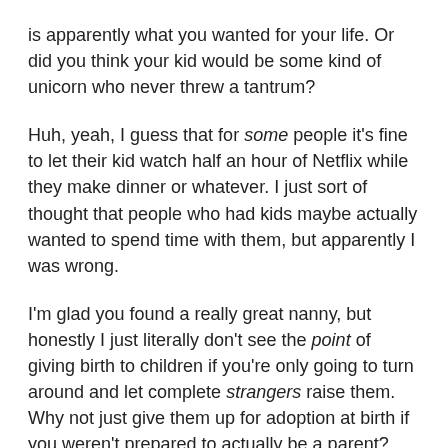is apparently what you wanted for your life. Or did you think your kid would be some kind of unicorn who never threw a tantrum?
Huh, yeah, I guess that for some people it's fine to let their kid watch half an hour of Netflix while they make dinner or whatever. I just sort of thought that people who had kids maybe actually wanted to spend time with them, but apparently I was wrong.
I'm glad you found a really great nanny, but honestly I just literally don't see the point of giving birth to children if you're only going to turn around and let complete strangers raise them. Why not just give them up for adoption at birth if you weren't prepared to actually be a parent?